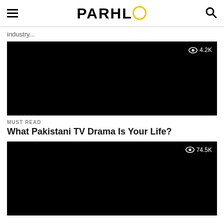PARHLO
industry...
[Figure (screenshot): Black image thumbnail with view count 4.2K in top right corner]
MUST READ
What Pakistani TV Drama Is Your Life?
[Figure (screenshot): Black image thumbnail with view count 74.5K in top right corner]